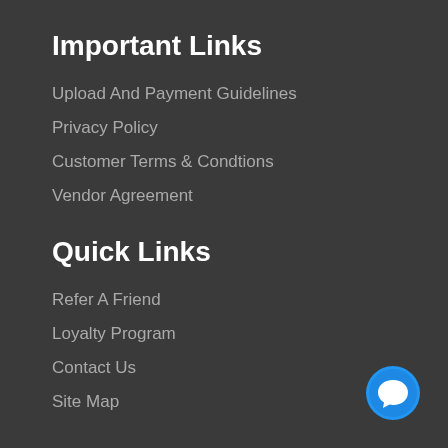Important Links
Upload And Payment Guidelines
Privacy Policy
Customer Terms & Condtions
Vendor Agreement
Quick Links
Refer A Friend
Loyalty Program
Contact Us
Site Map
[Figure (illustration): Blue circular chat button with white speech bubble icon, positioned at bottom right corner]